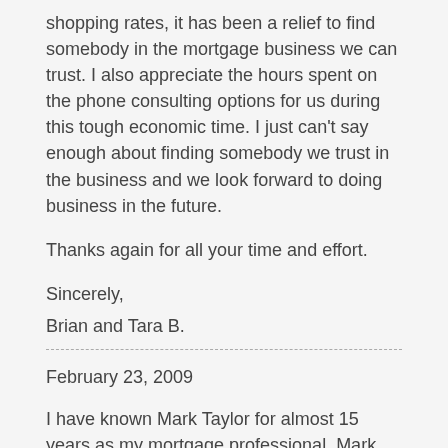shopping rates, it has been a relief to find somebody in the mortgage business we can trust. I also appreciate the hours spent on the phone consulting options for us during this tough economic time. I just can't say enough about finding somebody we trust in the business and we look forward to doing business in the future.
Thanks again for all your time and effort.
Sincerely,
Brian and Tara B.
February 23, 2009
I have known Mark Taylor for almost 15 years as my mortgage professional. Mark stays on top of the mortgage market daily, not weekly or monthly…..DAILY. He KNOWS the mortgage business like his own mother and